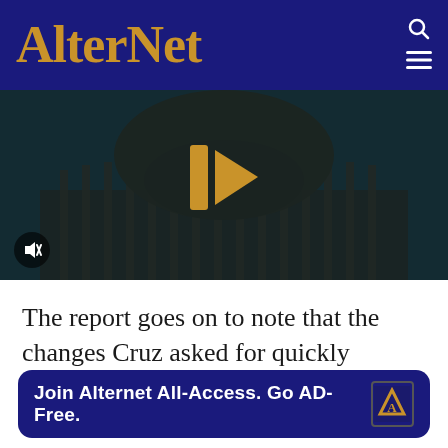AlterNet
[Figure (screenshot): Video player showing the US Capitol building dome at night/dusk with a dark teal overlay. A gold play button icon is centered. A mute button is visible in the bottom left corner.]
The report goes on to note that the changes Cruz asked for quickly allowed the wealthy Texas oilmen to cash in.
Join Alternet All-Access. Go AD-Free.